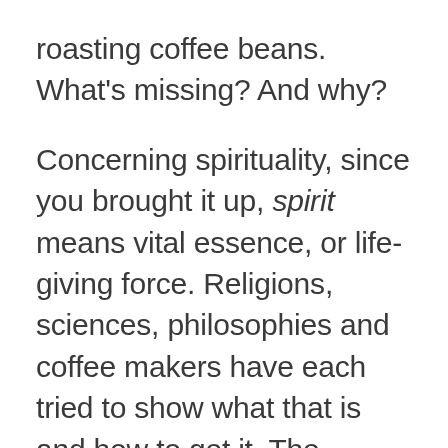roasting coffee beans. What's missing? And why?
Concerning spirituality, since you brought it up, spirit means vital essence, or life-giving force. Religions, sciences, philosophies and coffee makers have each tried to show what that is and how to get it. The totality of that search, and whatever successes have come as a result of it, was born from true